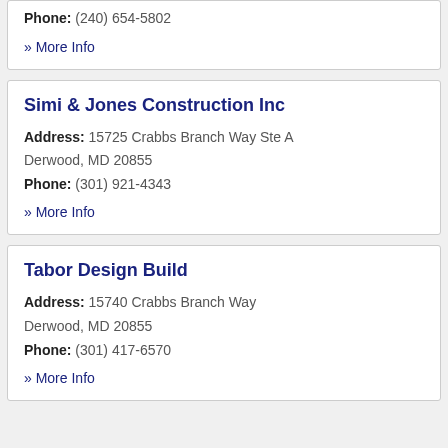Phone: (240) 654-5802
» More Info
Simi & Jones Construction Inc
Address: 15725 Crabbs Branch Way Ste A Derwood, MD 20855
Phone: (301) 921-4343
» More Info
Tabor Design Build
Address: 15740 Crabbs Branch Way Derwood, MD 20855
Phone: (301) 417-6570
» More Info